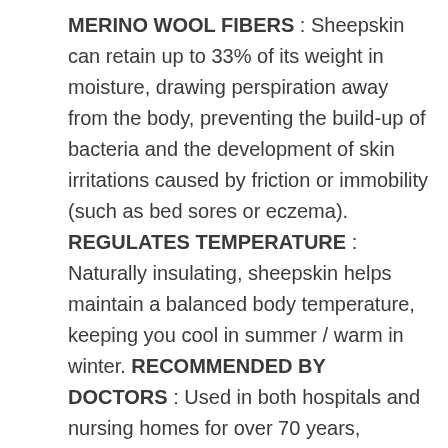MERINO WOOL FIBERS : Sheepskin can retain up to 33% of its weight in moisture, drawing perspiration away from the body, preventing the build-up of bacteria and the development of skin irritations caused by friction or immobility (such as bed sores or eczema). REGULATES TEMPERATURE : Naturally insulating, sheepskin helps maintain a balanced body temperature, keeping you cool in summer / warm in winter. RECOMMENDED BY DOCTORS : Used in both hospitals and nursing homes for over 70 years, sheepskin can reduce recovery time and greatly improve quality of life. VERSATILE + PORTABLE : A best-selling item due to its effectiveness, comfort and compatibility, the pelt can be used on beds,